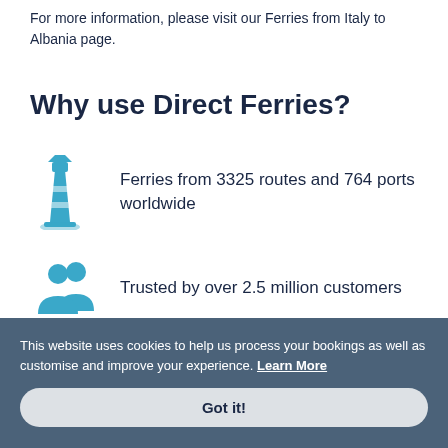For more information, please visit our Ferries from Italy to Albania page.
Why use Direct Ferries?
Ferries from 3325 routes and 764 ports worldwide
Trusted by over 2.5 million customers
This website uses cookies to help us process your bookings as well as customise and improve your experience. Learn More
Got it!